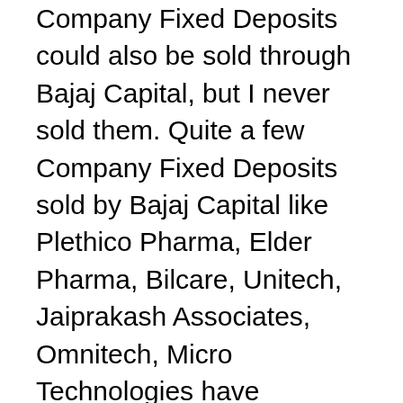Company Fixed Deposits could also be sold through Bajaj Capital, but I never sold them. Quite a few Company Fixed Deposits sold by Bajaj Capital like Plethico Pharma, Elder Pharma, Bilcare, Unitech, Jaiprakash Associates, Omnitech, Micro Technologies have defaulted. I was lucky not to have touched them.
I also took Oriental agency specifically to sell 'Oriental Happy Family Floater'. This product used to beat all other health insurance products in premium